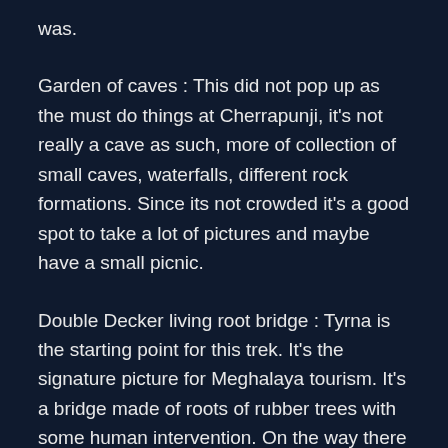was.
Garden of caves : This did not pop up as the must do things at Cherrapunji, it's not really a cave as such, more of collection of small caves, waterfalls, different rock formations. Since its not crowded it's a good spot to take a lot of pictures and maybe have a small picnic.
Double Decker living root bridge : Tyrna is the starting point for this trek. It's the signature picture for Meghalaya tourism. It's a bridge made of roots of rubber trees with some human intervention. On the way there are a couple of narrow bridges which are made of wires and look pretty dangerous. Everyone who can trek a bit will want to visit this, it's 3500 steps one way, it's all a descent first which makes your legs all wobbly, all the myths that going downhill is easier goes out of the window. It was an hour of trek one way just to reach there and probably an hour and half to come back. Frankly apart from the fact that you get